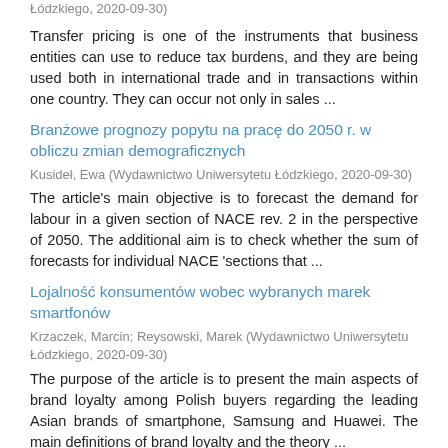Łódzkiego, 2020-09-30)
Transfer pricing is one of the instruments that business entities can use to reduce tax burdens, and they are being used both in international trade and in transactions within one country. They can occur not only in sales ...
Branżowe prognozy popytu na pracę do 2050 r. w obliczu zmian demograficznych
Kusideł, Ewa (Wydawnictwo Uniwersytetu Łódzkiego, 2020-09-30)
The article's main objective is to forecast the demand for labour in a given section of NACE rev. 2 in the perspective of 2050. The additional aim is to check whether the sum of forecasts for individual NACE 'sections that ...
Lojalność konsumentów wobec wybranych marek smartfonów
Krzaczek, Marcin; Reysowski, Marek (Wydawnictwo Uniwersytetu Łódzkiego, 2020-09-30)
The purpose of the article is to present the main aspects of brand loyalty among Polish buyers regarding the leading Asian brands of smartphone, Samsung and Huawei. The main definitions of brand loyalty and the theory ...
Urban public transport as a tool of sustainable mobility